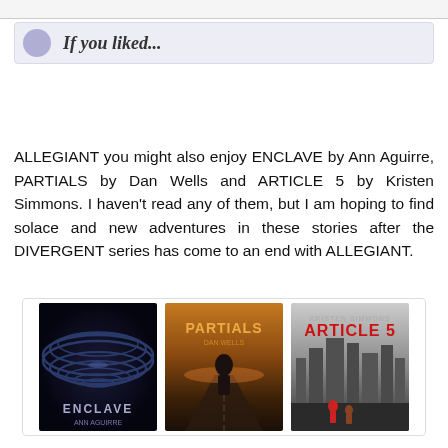If you liked...
ALLEGIANT you might also enjoy ENCLAVE by Ann Aguirre, PARTIALS by Dan Wells and ARTICLE 5 by Kristen Simmons. I haven't read any of them, but I am hoping to find solace and new adventures in these stories after the DIVERGENT series has come to an end with ALLEGIANT.
[Figure (illustration): Three book covers shown side by side: ENCLAVE by Ann Aguirre (dark sci-fi cover), PARTIALS by Dan Wells (figure on road with dramatic sky), and ARTICLE 5 by Kristen Simmons (cityscape with figures).]